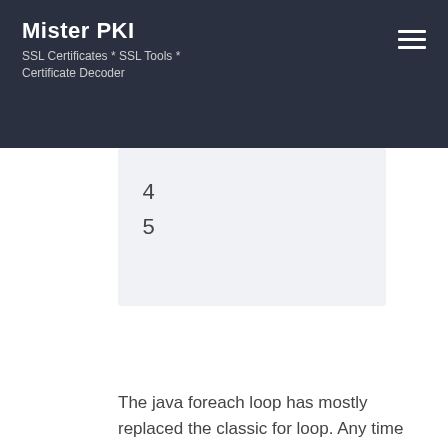Mister PKI
SSL Certificates * SSL Tools * Certificate Decoder
[Figure (screenshot): Code block showing line numbers 4 and 5 on a light gray background]
The java foreach loop has mostly replaced the classic for loop. Any time an index is warranted, it makes sense to use the classic loop. If an index is not necessary, use the foreach loop. They syntax is for (String item: items) when takes each item out of the collection or array to then process.